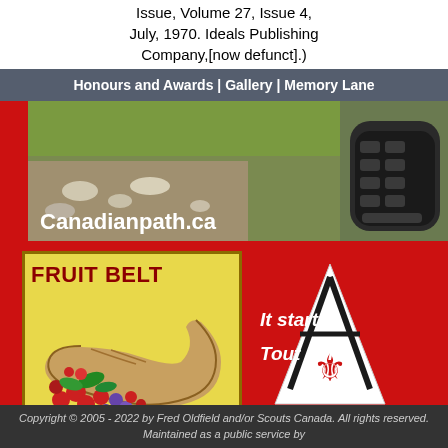Issue, Volume 27, Issue 4, July, 1970. Ideals Publishing Company,[now defunct].)
Honours and Awards | Gallery | Memory Lane
[Figure (photo): Website banner showing a boot sole on a rocky trail path with grass, overlaid with text Canadianpath.ca on a red background]
[Figure (illustration): Fruit Belt badge on yellow background showing a cornucopia with fruit]
[Figure (logo): Scouts Canada triangular logo with fleur-de-lis and maple leaf]
It starts
Tout com
Copyright © 2005 - 2022 by Fred Oldfield and/or Scouts Canada. All rights reserved. Maintained as a public service by